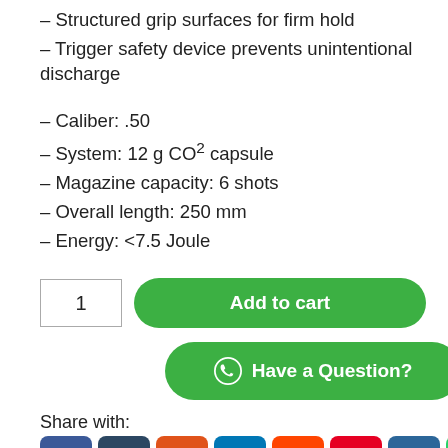– Structured grip surfaces for firm hold
– Trigger safety device prevents unintentional discharge
– Caliber: .50
– System: 12 g CO² capsule
– Magazine capacity: 6 shots
– Overall length: 250 mm
– Energy: <7.5 Joule
1  Add to cart
Have a Question?
Share with: